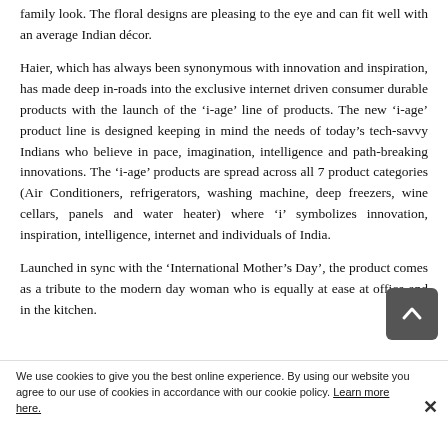family look. The floral designs are pleasing to the eye and can fit well with an average Indian décor.
Haier, which has always been synonymous with innovation and inspiration, has made deep in-roads into the exclusive internet driven consumer durable products with the launch of the 'i-age' line of products. The new 'i-age' product line is designed keeping in mind the needs of today's tech-savvy Indians who believe in pace, imagination, intelligence and path-breaking innovations. The 'i-age' products are spread across all 7 product categories (Air Conditioners, refrigerators, washing machine, deep freezers, wine cellars, panels and water heater) where 'i' symbolizes innovation, inspiration, intelligence, internet and individuals of India.
Launched in sync with the 'International Mother's Day', the product comes as a tribute to the modern day woman who is equally at ease at office and in the kitchen.
We use cookies to give you the best online experience. By using our website you agree to our use of cookies in accordance with our cookie policy. Learn more here.